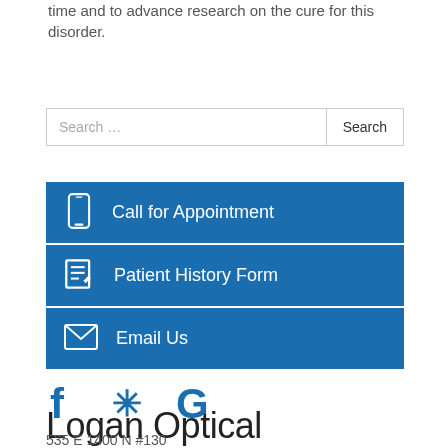time and to advance research on the cure for this disorder.
Search …
Call for Appointment
Patient History Form
Email Us
[Figure (infographic): Social media icons: Facebook, Yelp, Google]
Logan Optical
535 E 1400 N #130